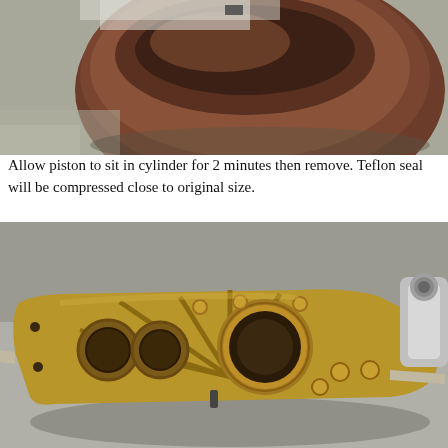[Figure (photo): Close-up photo of a piston being inserted into a cylinder bore, showing a rusted/brown metallic piston partially seated in the cylinder opening, viewed from above on a workbench surface.]
Allow piston to sit in cylinder for 2 minutes then remove. Teflon seal will be compressed close to original size.
[Figure (photo): Photo of a mechanical engine component — an oil pump or timing cover assembly made of aged brass/gold-colored metal with cross-braced structural ribs, circular openings, a splined gear hub in the center, multiple bolt studs, and a chrome fitting on the right side, resting on a metallic workbench surface.]